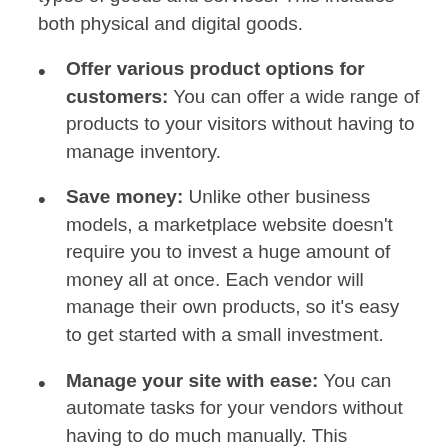types of goods and services. This includes both physical and digital goods.
Offer various product options for customers: You can offer a wide range of products to your visitors without having to manage inventory.
Save money: Unlike other business models, a marketplace website doesn't require you to invest a huge amount of money all at once. Each vendor will manage their own products, so it's easy to get started with a small investment.
Manage your site with ease: You can automate tasks for your vendors without having to do much manually. This decreases the workload for you, and you can use this time to concentrate on other